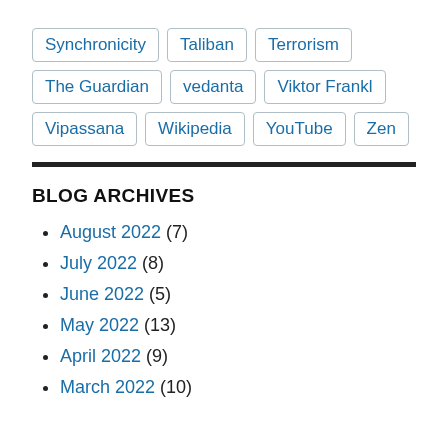Synchronicity | Taliban | Terrorism
The Guardian | vedanta | Viktor Frankl
Vipassana | Wikipedia | YouTube | Zen
BLOG ARCHIVES
August 2022 (7)
July 2022 (8)
June 2022 (5)
May 2022 (13)
April 2022 (9)
March 2022 (10)